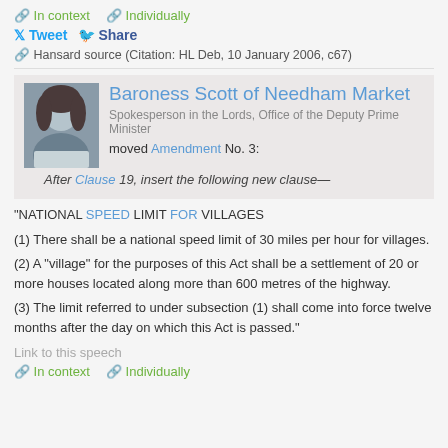In context   Individually
Tweet  Share
Hansard source (Citation: HL Deb, 10 January 2006, c67)
Baroness Scott of Needham Market
Spokesperson in the Lords, Office of the Deputy Prime Minister
moved Amendment No. 3:
After Clause 19, insert the following new clause—
"NATIONAL SPEED LIMIT FOR VILLAGES

(1) There shall be a national speed limit of 30 miles per hour for villages.

(2) A "village" for the purposes of this Act shall be a settlement of 20 or more houses located along more than 600 metres of the highway.

(3) The limit referred to under subsection (1) shall come into force twelve months after the day on which this Act is passed."
Link to this speech
In context   Individually